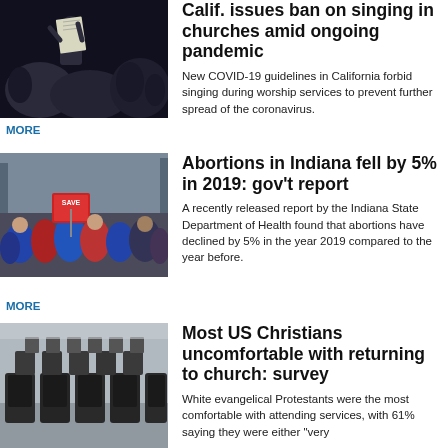[Figure (photo): Person holding a document/paper in dark outdoor setting]
Calif. issues ban on singing in churches amid ongoing pandemic
New COVID-19 guidelines in California forbid singing during worship services to prevent further spread of the coronavirus.
MORE
[Figure (photo): Crowd of people at a protest, person holding a 'Save' sign]
Abortions in Indiana fell by 5% in 2019: gov't report
A recently released report by the Indiana State Department of Health found that abortions have declined by 5% in the year 2019 compared to the year before.
MORE
[Figure (photo): Empty church chairs/pews viewed from behind]
Most US Christians uncomfortable with returning to church: survey
White evangelical Protestants were the most comfortable with attending services, with 61% saying they were either "very